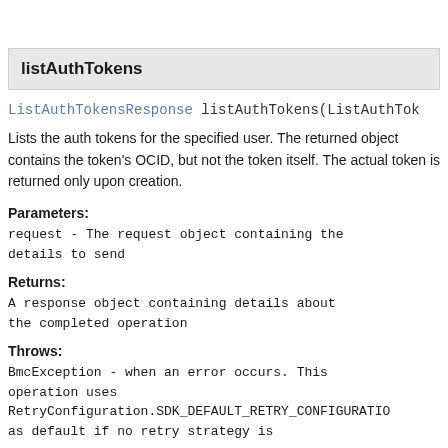listAuthTokens
ListAuthTokensResponse listAuthTokens(ListAuthTok
Lists the auth tokens for the specified user. The returned object contains the token's OCID, but not the token itself. The actual token is returned only upon creation.
Parameters:
request - The request object containing the details to send
Returns:
A response object containing details about the completed operation
Throws:
BmcException - when an error occurs. This operation uses RetryConfiguration.SDK_DEFAULT_RETRY_CONFIGURATIO as default if no retry strategy is